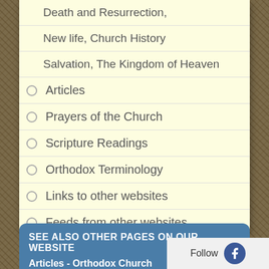Death and Resurrection,
New life, Church History
Salvation, The Kingdom of Heaven
Articles
Prayers of the Church
Scripture Readings
Orthodox Terminology
Links to other websites
Feeds from other websites
SEE ALSO OTHER PAGES ON OUR WEBSITE
Articles - Orthodox Church